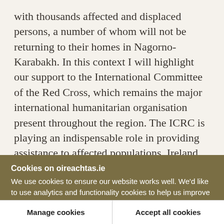with thousands affected and displaced persons, a number of whom will not be returning to their homes in Nagorno-Karabakh. In this context I will highlight our support to the International Committee of the Red Cross, which remains the major international humanitarian organisation present throughout the region. The ICRC is playing an indispensable role in providing assistance to affected populations. Ireland provides the ICRC with flexible, un-earmarked funding of €10 million per
Cookies on oireachtas.ie
We use cookies to ensure our website works well. We'd like to use analytics and functionality cookies to help us improve it but we require your consent to do so. If you don't consent, only necessary cookies will be used. Read more about our cookies
Manage cookies
Accept all cookies